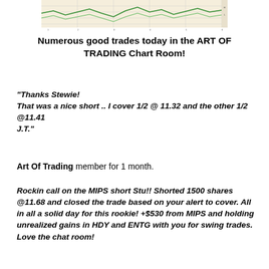[Figure (other): A stock chart image showing price movements with green lines on a beige/tan background, with axis labels along the bottom]
Numerous good trades today in the ART OF TRADING Chart Room!
"Thanks Stewie! That was a nice short .. I cover 1/2 @ 11.32 and the other 1/2 @11.41 J.T."
Art Of Trading member for 1 month.
Rockin call on the MIPS short Stu!! Shorted 1500 shares @11.68 and closed the trade based on your alert to cover. All in all a solid day for this rookie! +$530 from MIPS and holding unrealized gains in HDY and ENTG with you for swing trades. Love the chat room!